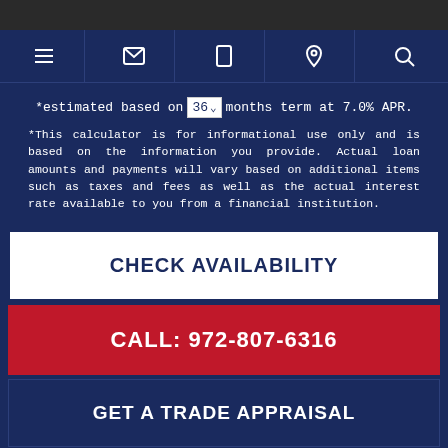Navigation bar with menu, email, phone, location, and search icons
*estimated based on 36 months term at 7.0% APR.
*This calculator is for informational use only and is based on the information you provide. Actual loan amounts and payments will vary based on additional items such as taxes and fees as well as the actual interest rate available to you from a financial institution.
CHECK AVAILABILITY
CALL: 972-807-6316
GET A TRADE APPRAISAL
SCHEDULE A TEST DRIVE